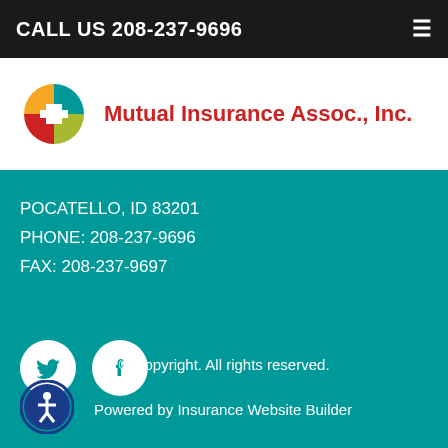CALL US 208-237-9696
[Figure (logo): Mutual Insurance Assoc., Inc. logo with colorful pinwheel icon and red text]
POCATELLO, ID 83201
PHONE: 208-237-9696
FAX: 208-237-9697
[Figure (illustration): Twitter and Facebook social media icons as white circles on teal background]
© Copyright. All rights reserved.
Powered by Insurance Website Builder